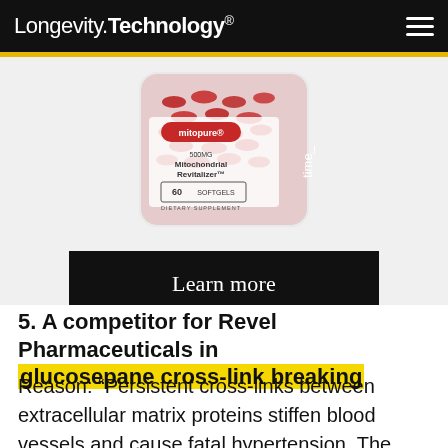Longevity.Technology®
[Figure (photo): A bottle of Mitopure 500mg Mitochondrial Revitalizer softgels (60 softgels, dietary supplement) with red capsules visible through the container. The bottle also displays the 'timeline' branding on the side. Below the bottle is a black 'Learn more' button.]
5. A competitor for Revel Pharmaceuticals in glucosepane cross-link breaking
Reason: “Persistent cross-links between extracellular matrix proteins stiffen blood vessels and cause fatal hypertension. The market size for methods of reversing this